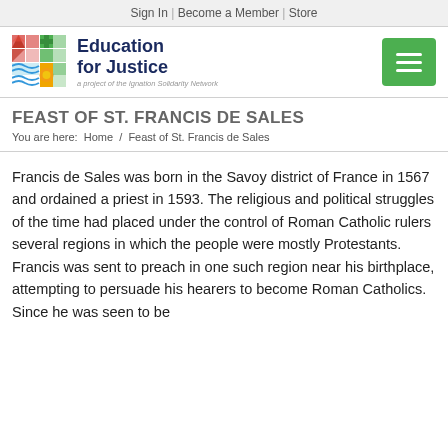Sign In  |  Become a Member  |  Store
[Figure (logo): Education for Justice logo with colorful mosaic grid icon and text 'Education for Justice — a project of the Ignation Solidarity Network']
FEAST OF ST. FRANCIS DE SALES
You are here:  Home / Feast of St. Francis de Sales
Francis de Sales was born in the Savoy district of France in 1567 and ordained a priest in 1593. The religious and political struggles of the time had placed under the control of Roman Catholic rulers several regions in which the people were mostly Protestants. Francis was sent to preach in one such region near his birthplace, attempting to persuade his hearers to become Roman Catholics. Since he was seen to be